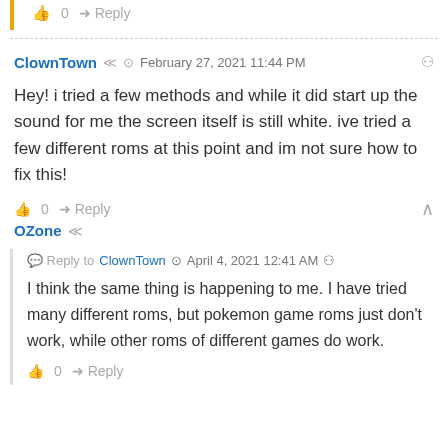👍 0  → Reply
ClownTown  🕐 February 27, 2021 11:44 PM  🔗
Hey! i tried a few methods and while it did start up the sound for me the screen itself is still white. ive tried a few different roms at this point and im not sure how to fix this!
👍 0  → Reply  OZone  Reply to ClownTown  🕐 April 4, 2021 12:41 AM 🔗
I think the same thing is happening to me. I have tried many different roms, but pokemon game roms just don't work, while other roms of different games do work.
👍 0  → Reply